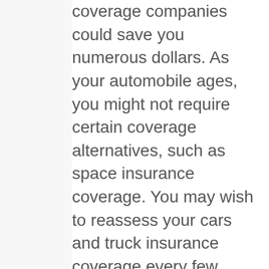coverage companies could save you numerous dollars. As your automobile ages, you might not require certain coverage alternatives, such as space insurance coverage. You may wish to reassess your cars and truck insurance coverage every few years.
To discover the finest vehicle insurance provider for you, you might discover it practical to get online quotes from numerous service providers and examine their policy offerings. You can also usually discover a list of each business's discounts on its website